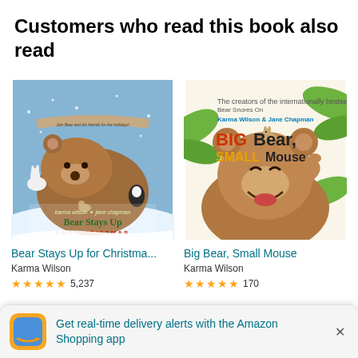Customers who read this book also read
[Figure (illustration): Book cover for 'Bear Stays Up for Christmas' by Karma Wilson and Jane Chapman. Features a brown bear surrounded by small animals in a snowy winter scene with text 'Join Bear and his friends for the holidays!']
Bear Stays Up for Christma...
Karma Wilson
★★★★★ 5,237
[Figure (illustration): Book cover for 'Big Bear, Small Mouse' by Karma Wilson and Jane Chapman. Features a large brown bear with a small mouse on its head, with green leaves in the background. Title shows 'BIG' in red, 'Bear,' in black, 'SMALL' in yellow, 'Mouse' in black.]
Big Bear, Small Mouse
Karma Wilson
★★★★★ 170
Get real-time delivery alerts with the Amazon Shopping app